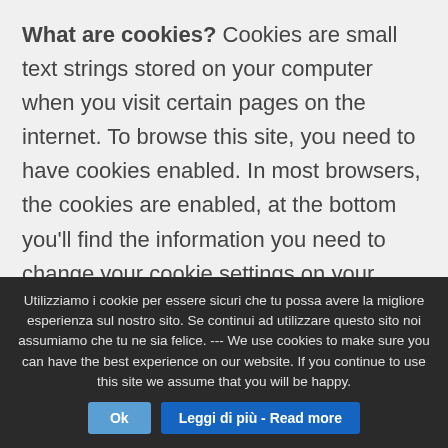What are cookies? Cookies are small text strings stored on your computer when you visit certain pages on the internet. To browse this site, you need to have cookies enabled. In most browsers, the cookies are enabled, at the bottom you'll find the information you need to change your cookie settings on your browser. Cookies are not harmful to your device. In the cookies that we generate, we do not store personal identifying information such as credit
Utilizziamo i cookie per essere sicuri che tu possa avere la migliore esperienza sul nostro sito. Se continui ad utilizzare questo sito noi assumiamo che tu ne sia felice. --- We use cookies to make sure you can have the best experience on our website. If you continue to use this site we assume that you will be happy. Ok Leggi di più - Read more